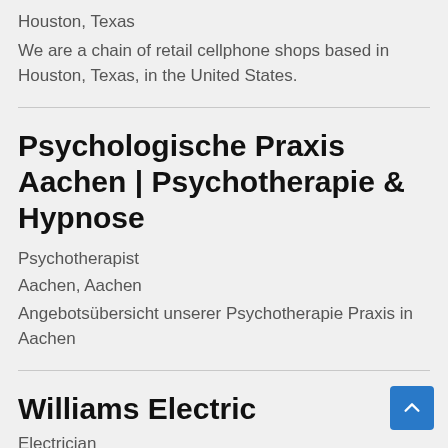Houston, Texas
We are a chain of retail cellphone shops based in Houston, Texas, in the United States.
Psychologische Praxis Aachen | Psychotherapie & Hypnose
Psychotherapist
Aachen, Aachen
Angebotsübersicht unserer Psychotherapie Praxis in Aachen
Williams Electric
Electrician